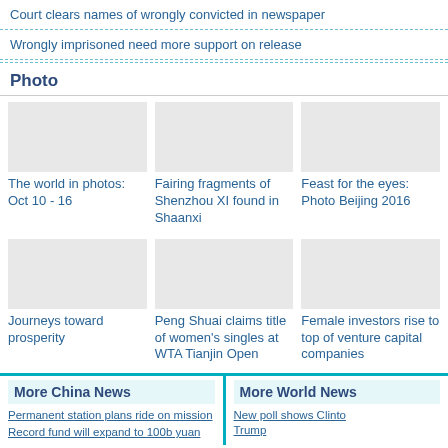Court clears names of wrongly convicted in newspaper
Wrongly imprisoned need more support on release
Photo
[Figure (photo): Photo grid row 1: The world in photos: Oct 10-16 | Fairing fragments of Shenzhou XI found in Shaanxi | Feast for the eyes: Photo Beijing 2016]
[Figure (photo): Photo grid row 2: Journeys toward prosperity | Peng Shuai claims title of women's singles at WTA Tianjin Open | Female investors rise to top of venture capital companies]
More China News
Permanent station plans ride on mission
Record fund will expand to 100b yuan
More World News
New poll shows Clinton leads Trump